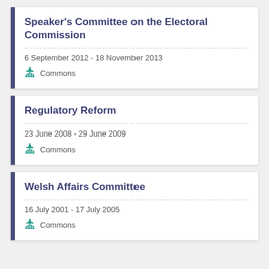Speaker's Committee on the Electoral Commission
6 September 2012 - 18 November 2013
Commons
Regulatory Reform
23 June 2008 - 29 June 2009
Commons
Welsh Affairs Committee
16 July 2001 - 17 July 2005
Commons